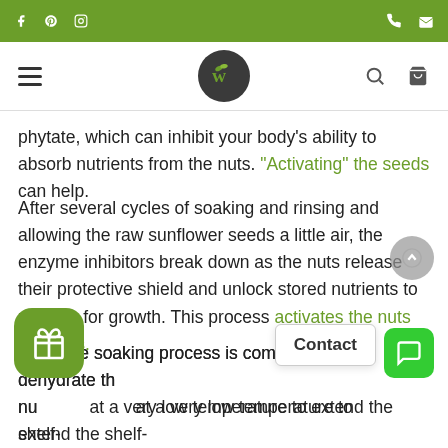Website navigation bar with social icons, logo, search and cart
phytate, which can inhibit your body's ability to absorb nutrients from the nuts. "Activating" the seeds can help.
After several cycles of soaking and rinsing and allowing the raw sunflower seeds a little air, the enzyme inhibitors break down as the nuts release their protective shield and unlock stored nutrients to prepare for growth. This process activates the nuts or seeds.
Once the soaking process is complete, we dehydrate the nuts at a very low temperature to extend the shelf-life and give them a delicate crunch. This method will preserve the nutrients and ensure that the organic sunflower seeds remain entirely raw.